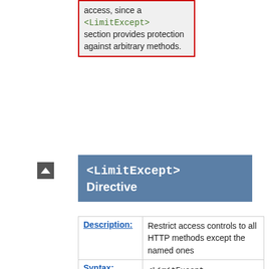access, since a <LimitExcept> section provides protection against arbitrary methods.
<LimitExcept> Directive
| Field | Value |
| --- | --- |
| Description: | Restrict access controls to all HTTP methods except the named ones |
| Syntax: | <LimitExcept method [method] ... > ... </LimitExcept> |
| Context: | server config, virtual host, directory, .htaccess |
| Override: | All |